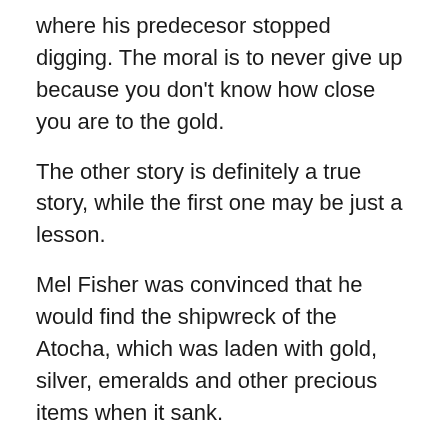where his predecesor stopped digging. The moral is to never give up because you don't know how close you are to the gold.
The other story is definitely a true story, while the first one may be just a lesson.
Mel Fisher was convinced that he would find the shipwreck of the Atocha, which was laden with gold, silver, emeralds and other precious items when it sank.
Every day, for 17 years, he looked for it. Every day during those 17 years, he started the day by saying “This could be the day!” Every day, when he didn’t find it, he would tell the crew around the supper table “Tomorrow could be the day!”